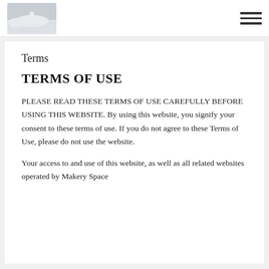[Logo] [Hamburger menu]
Terms
TERMS OF USE
PLEASE READ THESE TERMS OF USE CAREFULLY BEFORE USING THIS WEBSITE. By using this website, you signify your consent to these terms of use. If you do not agree to these Terms of Use, please do not use the website.
Your access to and use of this website, as well as all related websites operated by Makery Space